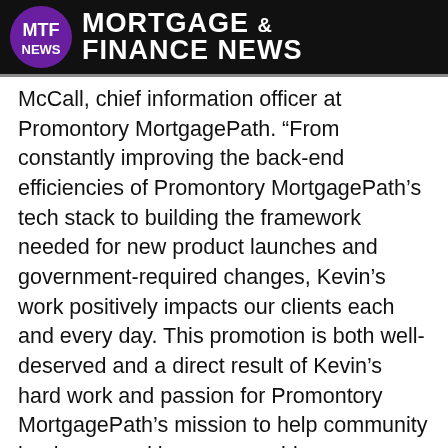MTF NEWS — MORTGAGE & FINANCE NEWS
McCall, chief information officer at Promontory MortgagePath. “From constantly improving the back-end efficiencies of Promontory MortgagePath’s tech stack to building the framework needed for new product launches and government-required changes, Kevin’s work positively impacts our clients each and every day. This promotion is both well-deserved and a direct result of Kevin’s hard work and passion for Promontory MortgagePath’s mission to help community banks expand homeownership opportunities.”